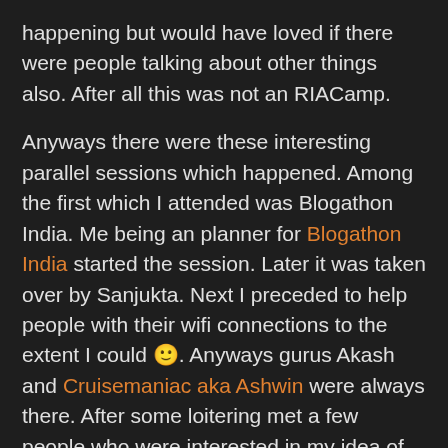happening but would have loved if there were people talking about other things also. After all this was not an RIACamp.
Anyways there were these interesting parallel sessions which happened. Among the first which I attended was Blogathon India. Me being an planner for Blogathon India started the session. Later it was taken over by Sanjukta. Next I preceded to help people with their wifi connections to the extent I could 🙂. Anyways gurus Akash and Cruisemaniac aka Ashwin were always there. After some loitering met a few people who were interested in my idea of BuddyHere. This was probably one of thing which made me feel that probably my idea can take off as an OSS App. But then I am still as much confused about how to do it as I was before.
One thing that felt really good was when I saw a guy put labels on the Tea and coffee containers. Before that everyone was asking someone else which is which. But this guy just took the post-it notes and pasted them over the containers. After